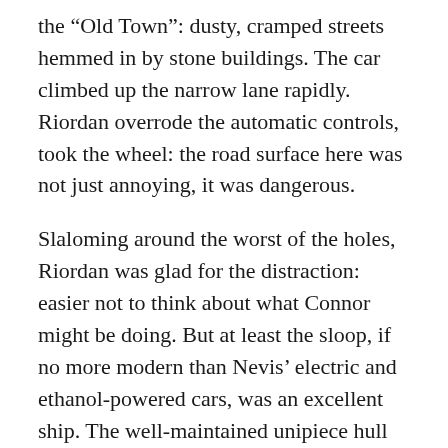the “Old Town”: dusty, cramped streets hemmed in by stone buildings. The car climbed up the narrow lane rapidly. Riordan overrode the automatic controls, took the wheel: the road surface here was not just annoying, it was dangerous.
Slaloming around the worst of the holes, Riordan was glad for the distraction: easier not to think about what Connor might be doing. But at least the sloop, if no more modern than Nevis’ electric and ethanol-powered cars, was an excellent ship. The well-maintained unipiece hull was almost forty years old, the alloy masts about half that. The radar and radio were sturdy, if basic, as were the sails. The only truly modern feature was the “ray-grabber” cabin roof that was, despite appearances, one big,